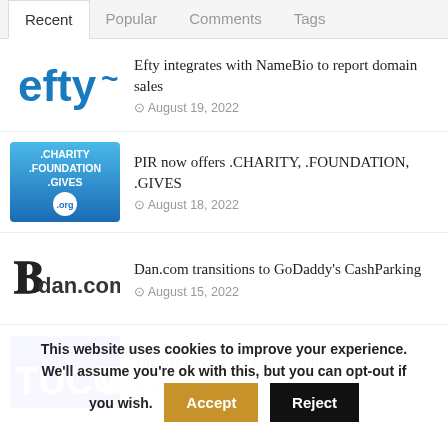Recent | Popular | Comments | Tags
[Figure (logo): Efty logo in blue]
Efty integrates with NameBio to report domain sales
August 19, 2022
[Figure (logo): .CHARITY .FOUNDATION .GIVES .org logo on blue background]
PIR now offers .CHARITY, .FOUNDATION, .GIVES
August 18, 2022
[Figure (logo): Dan.com logo with bold B icon]
Dan.com transitions to GoDaddy's CashParking
August 15, 2022
[Figure (logo): Tucows logo on blue background]
Tucows reports Q2 2022 results
August 12, 2022
This website uses cookies to improve your experience. We'll assume you're ok with this, but you can opt-out if you wish. Accept Reject